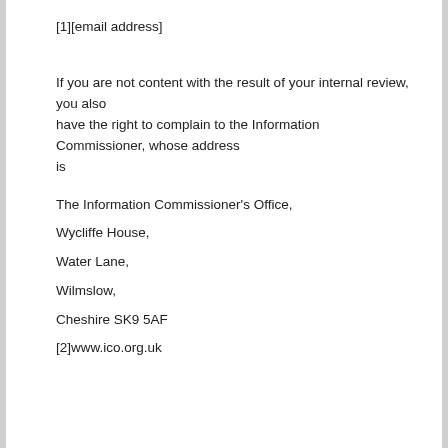[1][email address]
If you are not content with the result of your internal review, you also have the right to complain to the Information Commissioner, whose address is
The Information Commissioner’s Office,
Wycliffe House,
Water Lane,
Wilmslow,
Cheshire SK9 5AF
[2]www.ico.org.uk